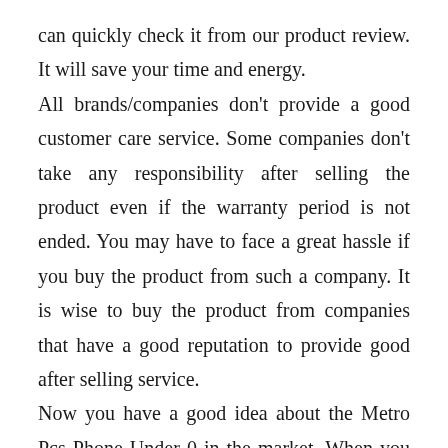can quickly check it from our product review. It will save your time and energy. All brands/companies don't provide a good customer care service. Some companies don't take any responsibility after selling the product even if the warranty period is not ended. You may have to face a great hassle if you buy the product from such a company. It is wise to buy the product from companies that have a good reputation to provide good after selling service. Now you have a good idea about the Metro Pcs Phone Under 0 in the market. When you have enough information about the product you won't feel overwhelmed by the variety, attractive designs, and features rather you will feel